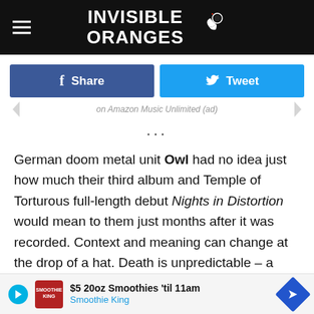INVISIBLE ORANGES
Share  Tweet
on Amazon Music Unlimited (ad)
...
German doom metal unit Owl had no idea just how much their third album and Temple of Torturous full-length debut Nights in Distortion would mean to them just months after it was recorded. Context and meaning can change at the drop of a hat. Death is unpredictable – a terrible end which everything meets – but loss will always follow suit. Listen to an exclusive premiere of "Trans
$5 20oz Smoothies 'til 11am  Smoothie King